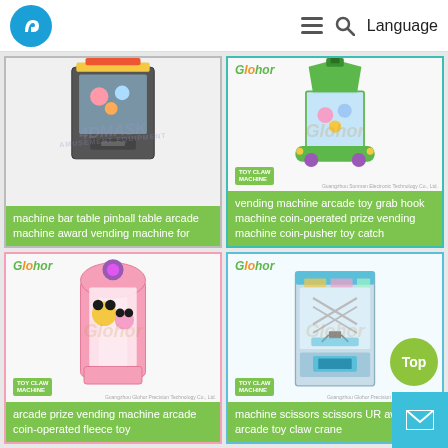Logo | hamburger menu | search | Language
[Figure (photo): Arcade pinball/bar table machine (top cropped), grey/dark cabinet with toys visible, watermark '4DMASK AMUSEMENT EQUIPMENT']
machine bar table pinball table arcade machine award vending machine for
[Figure (photo): Toy claw machine in green car-shaped cabinet, Glohor brand, 'TOY CLAW MACHINE' badge, coin-operated prize vending machine]
vending machine arcade toy grab hook machine coin-operated prize vending machine coin-pusher toy catch
[Figure (photo): Pink-bordered toy claw machine with Minnie Mouse plush toys, Glohor brand, 'TOY CLAW MACHINE' badge, arcade prize vending machine]
arcade prize vending machine arcade coin-operated fleece toy
[Figure (photo): Light blue bordered toy claw machine with scissors/grab crane, Glohor brand, 'TOY CLAW MACHINE' badge, stainless steel cabinet]
machine scissors scissors UR award arcade toy claw crane